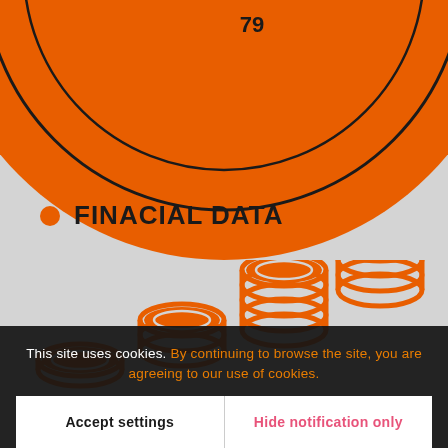[Figure (illustration): Large orange circle with concentric inner ring visible near top of page, partially cropped. The number '79' is visible inside near the top.]
FINACIAL DATA
[Figure (infographic): Four stacks of orange coin icons arranged in increasing height from left to right, representing growing financial data. Bottom labels partially visible: values in mill €.]
This site uses cookies. By continuing to browse the site, you are agreeing to our use of cookies.
Accept settings
Hide notification only